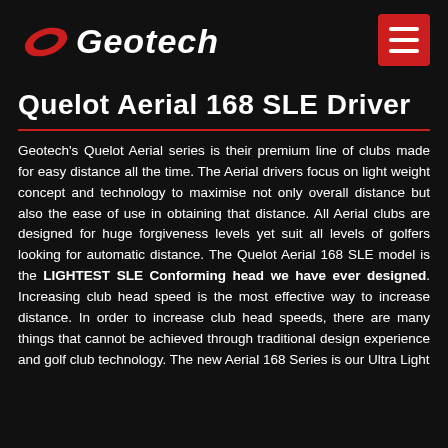Geotech
Quelot Aerial 168 SLE Driver
Geotech's Quelot Aerial series is their premium line of clubs made for easy distance all the time. The Aerial drivers focus on light weight concept and technology to maximise not only overall distance but also the ease of use in obtaining that distance. All Aerial clubs are designed for huge forgiveness levels yet suit all levels of golfers looking for automatic distance. The Quelot Aerial 168 SLE model is the LIGHTEST SLE Conforming head we have ever designed. Increasing club head speed is the most effective way to increase distance. In order to increase club head speeds, there are many things that cannot be achieved through traditional design experience and golf club technology. The new Aerial 168 Series is our Ultra Light